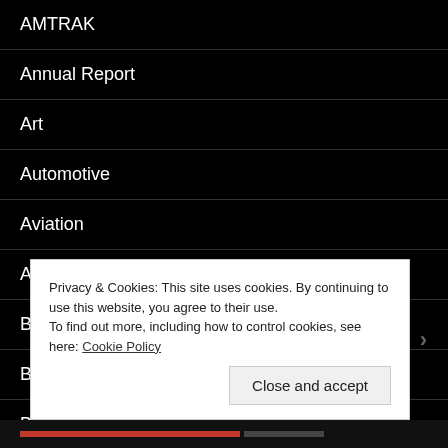AMTRAK
Annual Report
Art
Automotive
Aviation
Awesomeness
Baseball
Beer
BitCoin
Privacy & Cookies: This site uses cookies. By continuing to use this website, you agree to their use.
To find out more, including how to control cookies, see here: Cookie Policy
Close and accept